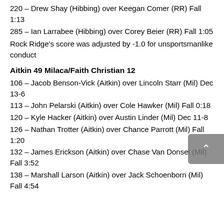220 – Drew Shay (Hibbing) over Keegan Comer (RR) Fall 1:13
285 – Ian Larrabee (Hibbing) over Corey Beier (RR) Fall 1:05
Rock Ridge's score was adjusted by -1.0 for unsportsmanlike conduct
Aitkin 49 Milaca/Faith Christian 12
106 – Jacob Benson-Vick (Aitkin) over Lincoln Starr (Mil) Dec 13-6
113 – John Pelarski (Aitkin) over Cole Hawker (Mil) Fall 0:18
120 – Kyle Hacker (Aitkin) over Austin Linder (Mil) Dec 11-8
126 – Nathan Trotter (Aitkin) over Chance Parrott (Mil) Fall 1:20
132 – James Erickson (Aitkin) over Chase Van Donsel (Mil) Fall 3:52
138 – Marshall Larson (Aitkin) over Jack Schoenborn (Mil) Fall 4:54